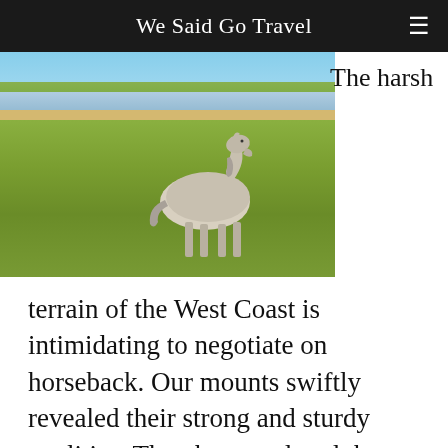We Said Go Travel
[Figure (photo): A white horse standing in tall green grass with a sandy estuary and blue sky in the background]
The harsh terrain of the West Coast is intimidating to negotiate on horseback. Our mounts swiftly revealed their strong and sturdy qualities. They have endured the ruggedness of this environment since the 4th century B.C.
Willie assured a handful of nervous riders,